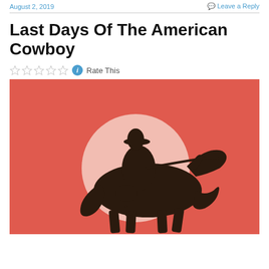August 2, 2019   Leave a Reply
Last Days Of The American Cowboy
Rate This
[Figure (illustration): Graphic illustration of a cowboy silhouette riding a horse against a large pale circle (sun/moon) on a red/coral background.]